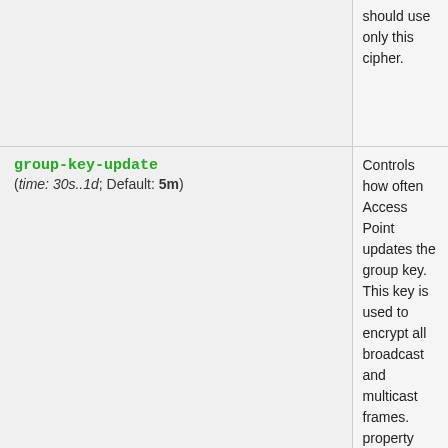| Property | Description |
| --- | --- |
| (continuation) should use only this cipher. |  |
| group-key-update
(time: 30s..1d; Default: 5m) | Controls how often Access Point updates the group key. This key is used to encrypt all broadcast and multicast frames. property only has effect for Access Points. |
| wpa-pre-shared-key
(text; Default: ) | WPA pre-shared key mode requires all devices in a BSS to have common secret key. Value of this key can be an arbitrary |